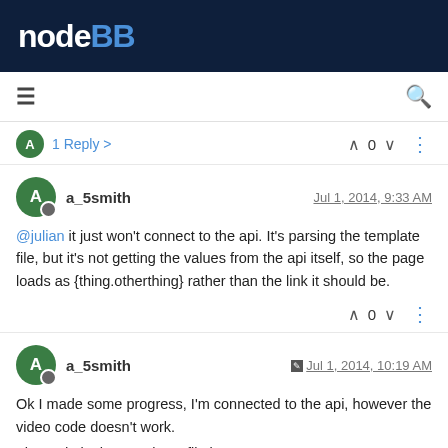nodeBB
1 Reply >   0   ⋮
a_5smith   Jul 1, 2014, 9:33 AM
@julian it just won't connect to the api. It's parsing the template file, but it's not getting the values from the api itself, so the page loads as {thing.otherthing} rather than the link it should be.
0   ⋮
a_5smith   Jul 1, 2014, 10:19 AM
Ok I made some progress, I'm connected to the api, however the video code doesn't work.
The code in the templates file is